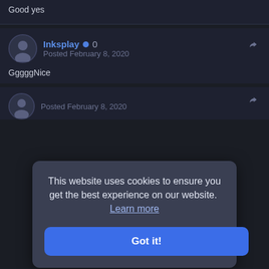Good yes
Inksplay · 0
Posted February 8, 2020
GggggNice
This website uses cookies to ensure you get the best experience on our website. Learn more
Got it!
Posted February 8, 2020